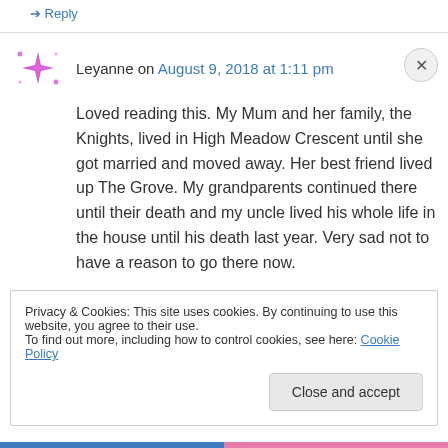↳ Reply
Leyanne on August 9, 2018 at 1:11 pm
Loved reading this. My Mum and her family, the Knights, lived in High Meadow Crescent until she got married and moved away. Her best friend lived up The Grove. My grandparents continued there until their death and my uncle lived his whole life in the house until his death last year. Very sad not to have a reason to go there now.
Privacy & Cookies: This site uses cookies. By continuing to use this website, you agree to their use. To find out more, including how to control cookies, see here: Cookie Policy
Close and accept